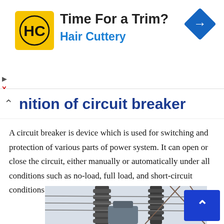[Figure (advertisement): Hair Cuttery advertisement banner with logo (HC in yellow square), text 'Time For a Trim? Hair Cuttery', and a blue diamond direction sign icon on the right]
nition of circuit breaker
A circuit breaker is device which is used for switching and protection of various parts of power system. It can open or close the circuit, either manually or automatically under all conditions such as no-load, full load, and short-circuit conditions.
[Figure (photo): Photograph of high-voltage circuit breaker / transformer equipment on a power transmission tower, showing large insulators and metal lattice structure]